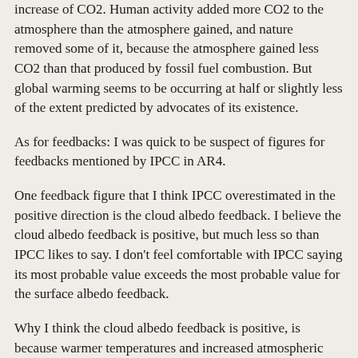increase of CO2. Human activity added more CO2 to the atmosphere than the atmosphere gained, and nature removed some of it, because the atmosphere gained less CO2 than that produced by fossil fuel combustion. But global warming seems to be occurring at half or slightly less of the extent predicted by advocates of its existence.
As for feedbacks: I was quick to be suspect of figures for feedbacks mentioned by IPCC in AR4.
One feedback figure that I think IPCC overestimated in the positive direction is the cloud albedo feedback. I believe the cloud albedo feedback is positive, but much less so than IPCC likes to say. I don't feel comfortable with IPCC saying its most probable value exceeds the most probable value for the surface albedo feedback.
Why I think the cloud albedo feedback is positive, is because warmer temperatures and increased atmospheric concentration of water vapor increases the heat-moving power of convective clouds (where there are updrafts). So, I expect convective clouds to reduce their global coverage.